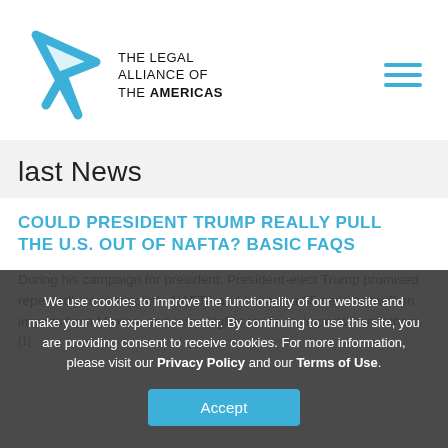[Figure (logo): The Legal Alliance of the Americas logo with blue arrow/diamond shape and text]
last News
COULD PRESIDENT TRUMP REALLY PULL THE U.S. OUT OF NAFTA? BASIC FAQS
During his campaign for president, President-elect Trump promised repeatedly to renegotiate NAFTA and impose a 35 percent tariff on imports from Mexico, and even higher tariffs on imports from others.[1]
We use cookies to improve the functionality of our website and make your web experience better. By continuing to use this site, you are providing consent to receive cookies. For more information, please visit our Privacy Policy and our Terms of Use.